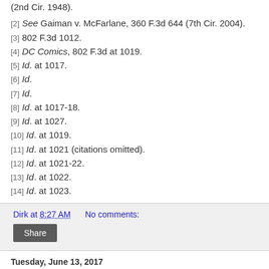(2nd Cir. 1948).
[2] See Gaiman v. McFarlane, 360 F.3d 644 (7th Cir. 2004).
[3] 802 F.3d 1012.
[4] DC Comics, 802 F.3d at 1019.
[5] Id. at 1017.
[6] Id.
[7] Id.
[8] Id. at 1017-18.
[9] Id. at 1027.
[10] Id. at 1019.
[11] Id. at 1021 (citations omitted).
[12] Id. at 1021-22.
[13] Id. at 1022.
[14] Id. at 1023.
Dirk at 8:27 AM    No comments:
Share
Tuesday, June 13, 2017
Batman & Bill